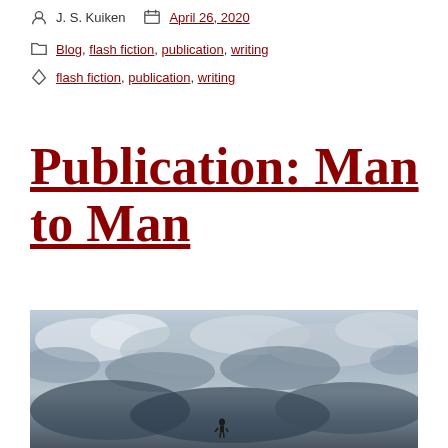J. S. Kuiken   April 26, 2020
Blog, flash fiction, publication, writing
flash fiction, publication, writing
Publication: Man to Man
[Figure (photo): Dramatic cloudy sky with dark clouds and a small silhouetted figure at the bottom center of the image]